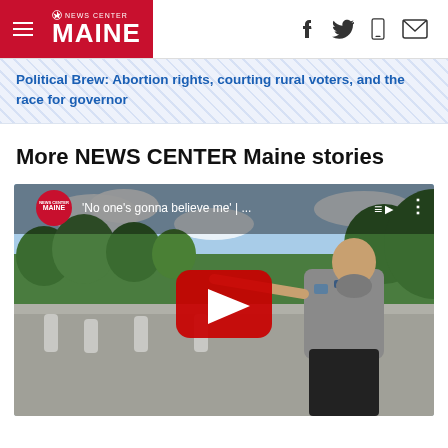NEWS CENTER MAINE
Political Brew: Abortion rights, courting rural voters, and the race for governor
More NEWS CENTER Maine stories
[Figure (screenshot): YouTube video embed showing a security guard pointing outdoors near a government building. Video title: 'No one’s gonna believe me' |... with YouTube play button overlay and NEWS CENTER Maine badge.]